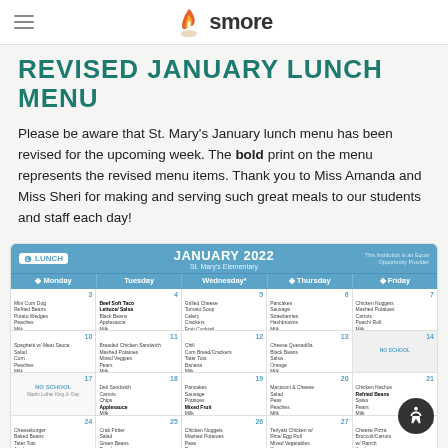smore
REVISED JANUARY LUNCH MENU
Please be aware that St. Mary’s January lunch menu has been revised for the upcoming week. The bold print on the menu represents the revised menu items. Thank you to Miss Amanda and Miss Sheri for making and serving such great meals to our students and staff each day!
[Figure (other): January 2022 Lunch Calendar for St. Mary’s Elementary showing daily lunch menus for each weekday in January 2022 including items like Mini Corn Dog, Spaghetti w/ Meat Sauce, Pancakes, Chicken Nuggets, and more.]